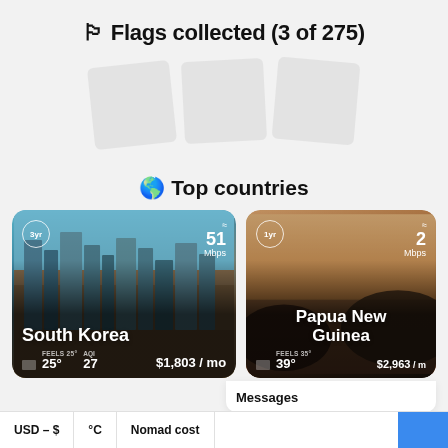🏁 Flags collected (3 of 275)
[Figure (illustration): Three tilted flag card placeholders (light gray rectangles)]
🌍 Top countries
[Figure (photo): South Korea country card: city skyline photo background, 3yr badge, 51 Mbps wifi, FEELS 25°, temp 25°, AQI 27, $1,803 / mo]
[Figure (photo): Papua New Guinea country card: sunset landscape photo background, 1yr badge, 2 Mbps wifi, FEELS 35°, temp 39°, $2,963 / mo]
Messages
USD – $
°C
Nomad cost